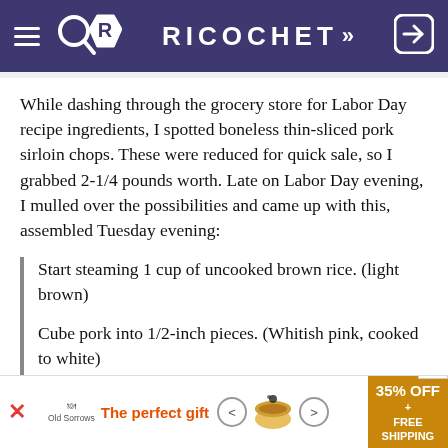RICOCHET
While dashing through the grocery store for Labor Day recipe ingredients, I spotted boneless thin-sliced pork sirloin chops. These were reduced for quick sale, so I grabbed 2-1/4 pounds worth. Late on Labor Day evening, I mulled over the possibilities and came up with this, assembled Tuesday evening:
Start steaming 1 cup of uncooked brown rice. (light brown)
Cube pork into 1/2-inch pieces. (Whitish pink, cooked to white)
Similarly cube one block of firm tofu for bulk. (white)
Season with (home-blended) curry powder*, powdered sage, fresh ground pepper, and a bit of salt. (golden-reddish mix)
[Figure (screenshot): Advertisement banner: 'The perfect gift' with food product image and '35% OFF + FREE SHIPPING' promotional text]